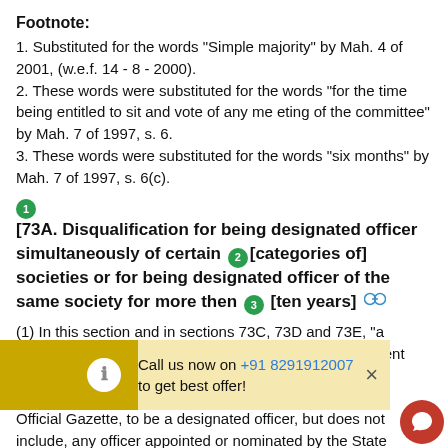Footnote:
1. Substituted for the words "Simple majority" by Mah. 4 of 2001, (w.e.f. 14 - 8 - 2000).
2. These words were substituted for the words "for the time being entitled to sit and vote of any me eting of the committee" by Mah. 7 of 1997, s. 6.
3. These words were substituted for the words "six months" by Mah. 7 of 1997, s. 6(c).
[73A. Disqualification for being designated officer simultaneously of certain [categories of] societies or for being designated officer of the same society for more then [ten years]
(1) In this section and in sections 73C, 73D and 73E, "a designated officer" means the Chairman and the President and ... declared ... Official Gazette, to be a designated officer, but does not include, any officer appointed or nominated by the State Government or by the Registrar.